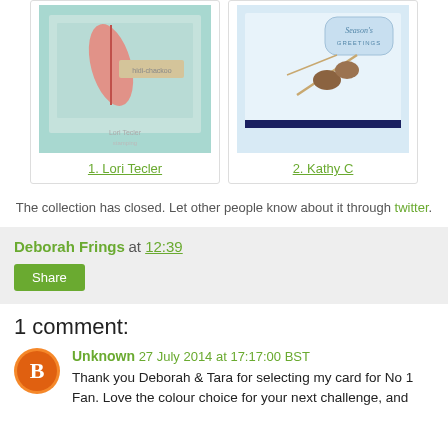[Figure (photo): Two craft card thumbnails side by side. Left card shows a feather design on mint/teal background labeled '1. Lori Tecler'. Right card shows pine cones and Season's Greetings on light blue background labeled '2. Kathy C'.]
1. Lori Tecler
2. Kathy C
The collection has closed. Let other people know about it through twitter.
Deborah Frings at 12:39
Share
1 comment:
Unknown 27 July 2014 at 17:17:00 BST
Thank you Deborah & Tara for selecting my card for No 1 Fan. Love the colour choice for your next challenge, and